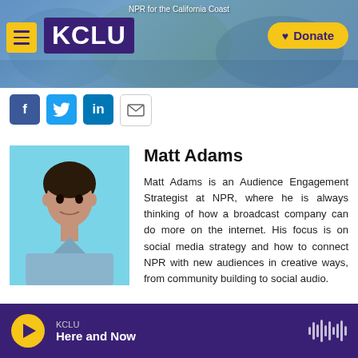[Figure (screenshot): KCLU radio station website header banner with logo, menu button, and Donate button. Text reads 'NPR for the California Coast']
[Figure (other): Social sharing buttons row: Facebook (f), Twitter (bird icon), LinkedIn (in), Email (envelope)]
[Figure (photo): Headshot photo of Matt Adams, a man with dark hair wearing a light blue shirt, against a light blue background]
Matt Adams
Matt Adams is an Audience Engagement Strategist at NPR, where he is always thinking of how a broadcast company can do more on the internet. His focus is on social media strategy and how to connect NPR with new audiences in creative ways, from community building to social audio.
KCLU Here and Now